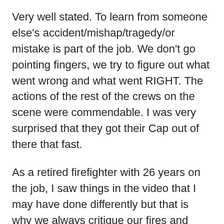Very well stated. To learn from someone else's accident/mishap/tragedy/or mistake is part of the job. We don't go pointing fingers, we try to figure out what went wrong and what went RIGHT. The actions of the rest of the crews on the scene were commendable. I was very surprised that they got their Cap out of there that fast.
As a retired firefighter with 26 years on the job, I saw things in the video that I may have done differently but that is why we always critique our fires and other incidents. I tried to learn every day, there is no perfect firefighter, only firefighters who commit to learning. We don't put blame on actions, but ask if there were other thoughts on what occurred. You can't better yourself if your mind is shut. Your job as a